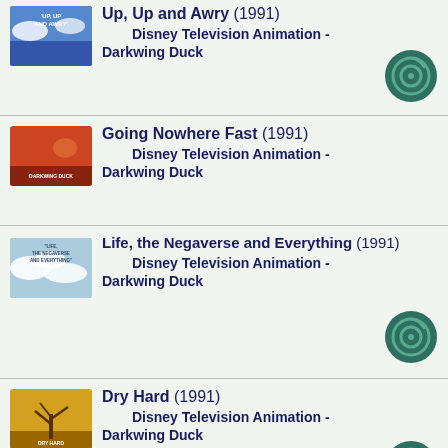Up, Up and Awry (1991) Disney Television Animation - Darkwing Duck
Going Nowhere Fast (1991) Disney Television Animation - Darkwing Duck
Life, the Negaverse and Everything (1991) Disney Television Animation - Darkwing Duck
Dry Hard (1991) Disney Television Animation - Darkwing Duck